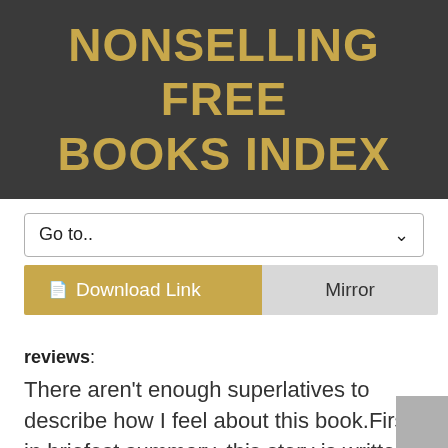NONSELLING FREE BOOKS INDEX
Go to..
Download Link   Mirror
reviews:
There aren't enough superlatives to describe how I feel about this book.First, in briefest summary, this story is written by Dr. Rana Awdish and tells the harrowing story of her near-fatal medical disaster suffered in her 7th month